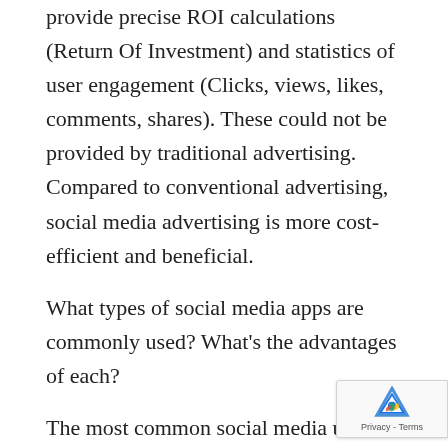provide precise ROI calculations (Return Of Investment) and statistics of user engagement (Clicks, views, likes, comments, shares). These could not be provided by traditional advertising. Compared to conventional advertising, social media advertising is more cost-efficient and beneficial.
What types of social media apps are commonly used? What's the advantages of each?
The most common social media used in New Zealand are:
1. Facebook
Facebook has the most substantial brand presence and the broadest scale of audience. You would find any customer on Facebook and reach a broad potential...